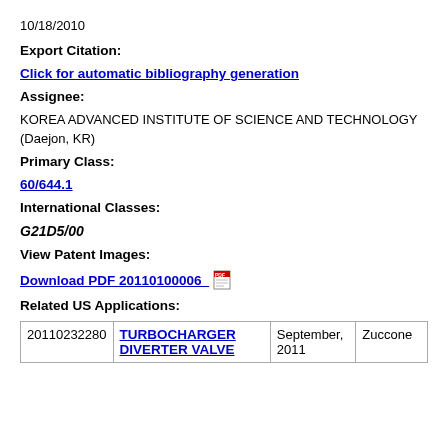10/18/2010
Export Citation:
Click for automatic bibliography generation
Assignee:
KOREA ADVANCED INSTITUTE OF SCIENCE AND TECHNOLOGY (Daejon, KR)
Primary Class:
60/644.1
International Classes:
G21D5/00
View Patent Images:
Download PDF 20110100006
Related US Applications:
|  |  |  |  |
| --- | --- | --- | --- |
| 20110232280 | TURBOCHARGER DIVERTER VALVE | September, 2011 | Zuccone |